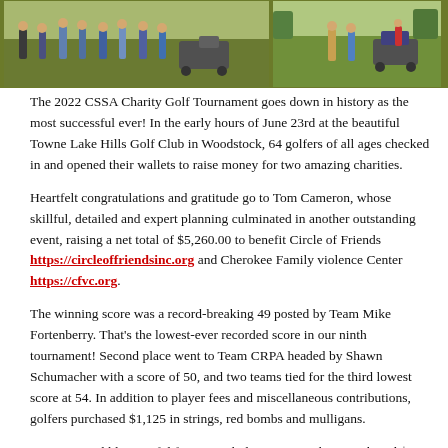[Figure (photo): Two side-by-side photos of golfers at the 2022 CSSA Charity Golf Tournament at Towne Lake Hills Golf Club. Left photo shows a group of golfers in blue shirts gathered together. Right photo shows golfers near a golf cart on the green.]
The 2022 CSSA Charity Golf Tournament goes down in history as the most successful ever! In the early hours of June 23rd at the beautiful Towne Lake Hills Golf Club in Woodstock, 64 golfers of all ages checked in and opened their wallets to raise money for two amazing charities.
Heartfelt congratulations and gratitude go to Tom Cameron, whose skillful, detailed and expert planning culminated in another outstanding event, raising a net total of $5,260.00 to benefit Circle of Friends https://circleoffriendsinc.org and Cherokee Family violence Center https://cfvc.org.
The winning score was a record-breaking 49 posted by Team Mike Fortenberry. That's the lowest-ever recorded score in our ninth tournament! Second place went to Team CRPA headed by Shawn Schumacher with a score of 50, and two teams tied for the third lowest score at 54. In addition to player fees and miscellaneous contributions, golfers purchased $1,125 in strings, red bombs and mulligans.
We are incredibly grateful for our 20 hole sponsors who contributed $100 each, making it possible for us to reach and exceed our fundraising goal for the tournament. An anonymous sponsor came through with generous support and well-placed comfort items including individual cooling